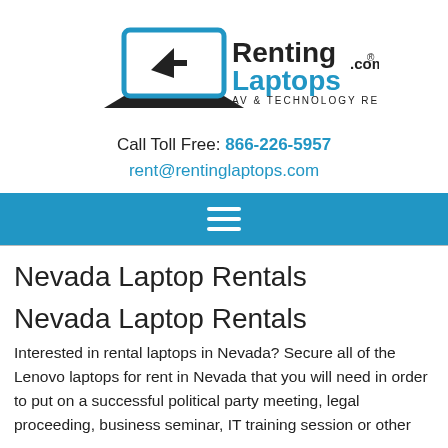[Figure (logo): RentingLaptops.com logo with laptop icon and text 'AV & TECHNOLOGY RENTALS']
Call Toll Free: 866-226-5957
rent@rentinglaptops.com
[Figure (other): Blue navigation bar with hamburger menu icon (three horizontal white lines)]
Nevada Laptop Rentals
Nevada Laptop Rentals
Interested in rental laptops in Nevada? Secure all of the Lenovo laptops for rent in Nevada that you will need in order to put on a successful political party meeting, legal proceeding, business seminar, IT training session or other